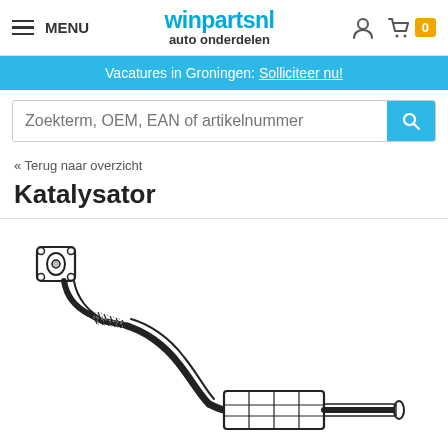MENU | winpartsnl auto onderdelen
Vacatures in Groningen: Solliciteer nu!
Zoekterm, OEM, EAN of artikelnummer
« Terug naar overzicht
Katalysator
[Figure (illustration): Line drawing of a catalytic converter (katalysator) exhaust part showing flexible pipe with mounting flange, flex section, curved pipe, catalytic converter box, and outlet pipe.]